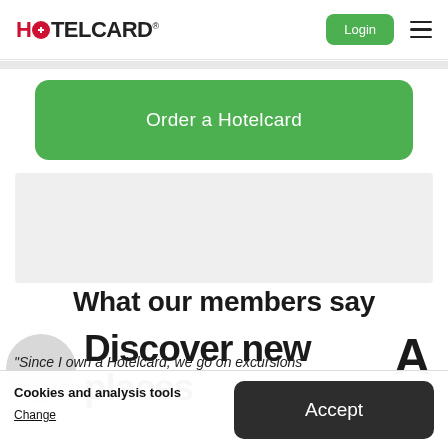HOTELCARD — Login (button) — Hamburger menu
Order a Hotelcard
What our members say
Discover new places
Cookies and analysis tools
Change
Accept
"Since I own a Hotelcard, we go on excursions